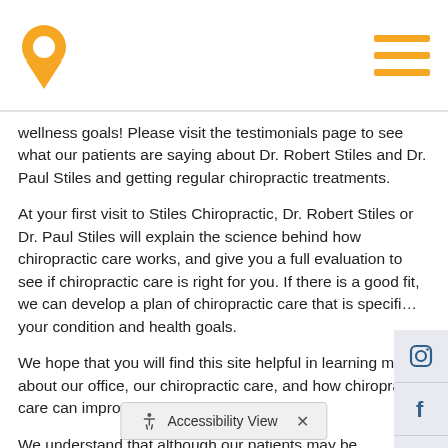Navigation header with location pin logo and hamburger menu
wellness goals! Please visit the testimonials page to see what our patients are saying about Dr. Robert Stiles and Dr. Paul Stiles and getting regular chiropractic treatments.
At your first visit to Stiles Chiropractic, Dr. Robert Stiles or Dr. Paul Stiles will explain the science behind how chiropractic care works, and give you a full evaluation to see if chiropractic care is right for you. If there is a good fit, we can develop a plan of chiropractic care that is specific to your condition and health goals.
We hope that you will find this site helpful in learning more about our office, our chiropractic care, and how chiropractic care can improve your quality of life.
We understand that although our patients may be diagnosed with the same condition, they may respond differently to different treatments. For this reason, we tailor